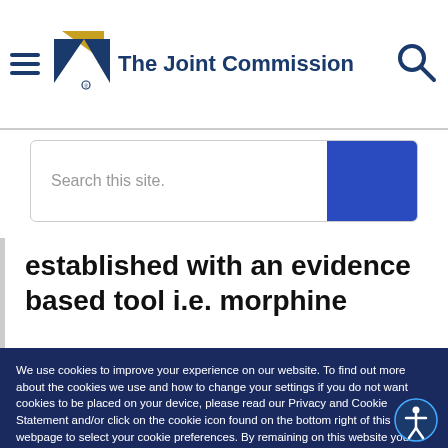[Figure (logo): The Joint Commission logo with geometric triangles in navy and gold, plus hamburger menu icon and search icon]
Search this site.
established with an evidence based tool i.e. morphine
We use cookies to improve your experience on our website. To find out more about the cookies we use and how to change your settings if you do not want cookies to be placed on your device, please read our Privacy and Cookie Statement and/or click on the cookie icon found on the bottom right of this webpage to select your cookie preferences. By remaining on this website you indicate your consent. Privacy Policy